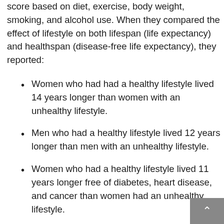score based on diet, exercise, body weight, smoking, and alcohol use. When they compared the effect of lifestyle on both lifespan (life expectancy) and healthspan (disease-free life expectancy), they reported:
Women who had had a healthy lifestyle lived 14 years longer than women with an unhealthy lifestyle.
Men who had a healthy lifestyle lived 12 years longer than men with an unhealthy lifestyle.
Women who had a healthy lifestyle lived 11 years longer free of diabetes, heart disease, and cancer than women had an unhealthy lifestyle.